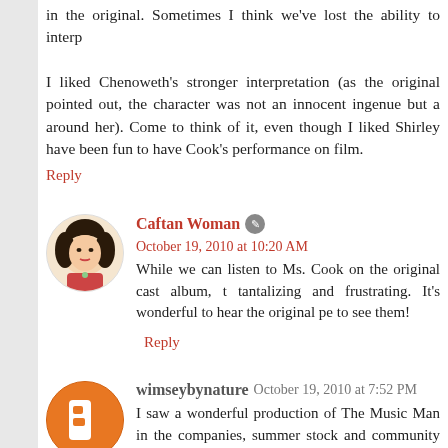in the original. Sometimes I think we've lost the ability to interp
I liked Chenoweth's stronger interpretation (as the original pointed out, the character was not an innocent ingenue but a around her). Come to think of it, even though I liked Shirley have been fun to have Cook's performance on film.
Reply
Caftan Woman • October 19, 2010 at 10:20 AM
While we can listen to Ms. Cook on the original cast album, t tantalizing and frustrating. It's wonderful to hear the original pe to see them!
Reply
wimseybynature October 19, 2010 at 7:52 PM
I saw a wonderful production of The Music Man in the companies, summer stock and community theatres have fille show.